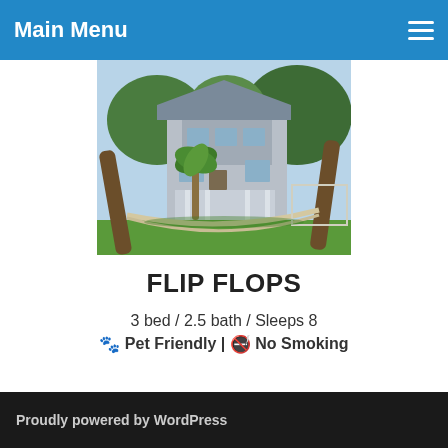Main Menu
[Figure (photo): Exterior photo of a two-story coastal beach house with a hammock strung between large trees in the front yard, green lawn, and palm trees.]
FLIP FLOPS
3 bed / 2.5 bath / Sleeps 8
🐾 Pet Friendly | 🚭 No Smoking
Proudly powered by WordPress